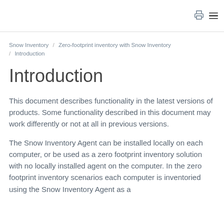Snow Inventory / Zero-footprint inventory with Snow Inventory / Introduction
Introduction
This document describes functionality in the latest versions of products. Some functionality described in this document may work differently or not at all in previous versions.
The Snow Inventory Agent can be installed locally on each computer, or be used as a zero footprint inventory solution with no locally installed agent on the computer. In the zero footprint inventory scenarios each computer is inventoried using the Snow Inventory Agent as a